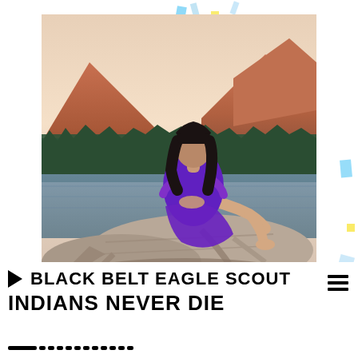[Figure (photo): A woman in a purple dress sits on a large driftwood log by a lake, with forested mountains and pink-lit peaks behind her. The scene is outdoors at dusk/golden hour.]
BLACK BELT EAGLE SCOUT
INDIANS NEVER DIE